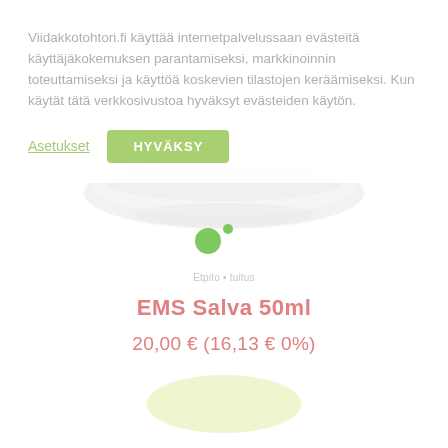Viidakkotohtori.fi käyttää internetpalvelussaan evästeitä käyttäjäkokemuksen parantamiseksi, markkinoinnin toteuttamiseksi ja käyttöä koskevien tilastojen keräämiseksi. Kun käytät tätä verkkosivustoa hyväksyt evästeiden käytön.
Asetukset
HYVÄKSY
[Figure (photo): White ceramic bowl or plate seen from above, with a green dot/circle overlay element]
Etpito • tuitus
EMS Salva 50ml
20,00 € (16,13 € 0%)
[Figure (other): Light green oval/pill-shaped add to cart button area]